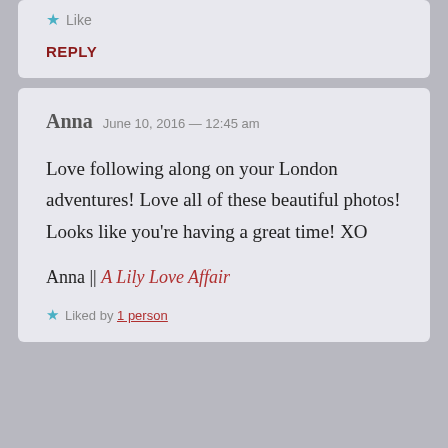Like
REPLY
Anna  June 10, 2016 — 12:45 am
Love following along on your London adventures! Love all of these beautiful photos! Looks like you're having a great time! XO
Anna || A Lily Love Affair
Liked by 1 person